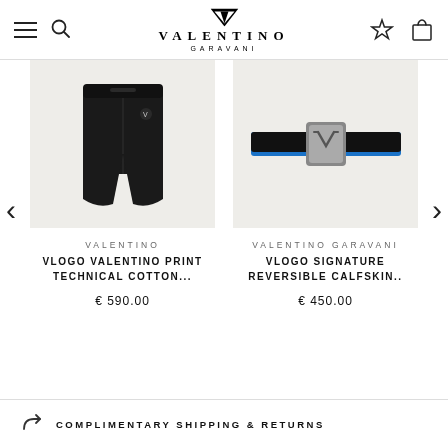[Figure (logo): Valentino Garavani logo with V logo mark, brand name VALENTINO in spaced serif lettering, and GARAVANI subtitle]
[Figure (photo): Black technical cotton shorts with small logo detail, displayed on light beige background]
VALENTINO
VLOGO VALENTINO PRINT TECHNICAL COTTON...
€ 590.00
[Figure (photo): Black and blue reversible calfskin belt with silver VLogo signature buckle, displayed on light beige background]
VALENTINO GARAVANI
VLOGO SIGNATURE REVERSIBLE CALFSKIN..
€ 450.00
COMPLIMENTARY SHIPPING & RETURNS